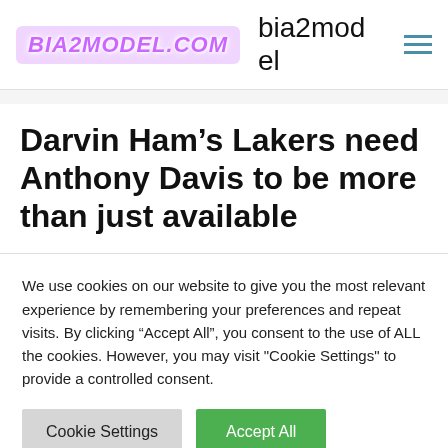BIA2MODEL.COM  bia2model
Darvin Ham’s Lakers need Anthony Davis to be more than just available
We use cookies on our website to give you the most relevant experience by remembering your preferences and repeat visits. By clicking “Accept All”, you consent to the use of ALL the cookies. However, you may visit "Cookie Settings" to provide a controlled consent.